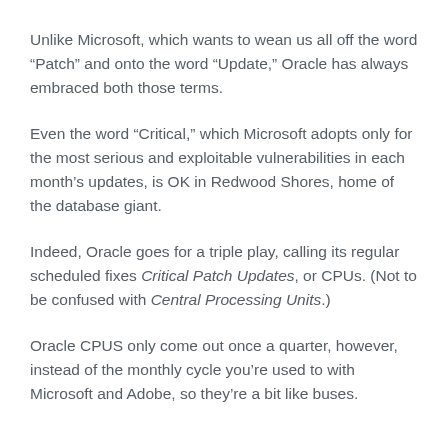Unlike Microsoft, which wants to wean us all off the word “Patch” and onto the word “Update,” Oracle has always embraced both those terms.
Even the word “Critical,” which Microsoft adopts only for the most serious and exploitable vulnerabilities in each month’s updates, is OK in Redwood Shores, home of the database giant.
Indeed, Oracle goes for a triple play, calling its regular scheduled fixes Critical Patch Updates, or CPUs. (Not to be confused with Central Processing Units.)
Oracle CPUS only come out once a quarter, however, instead of the monthly cycle you’re used to with Microsoft and Adobe, so they’re a bit like buses.